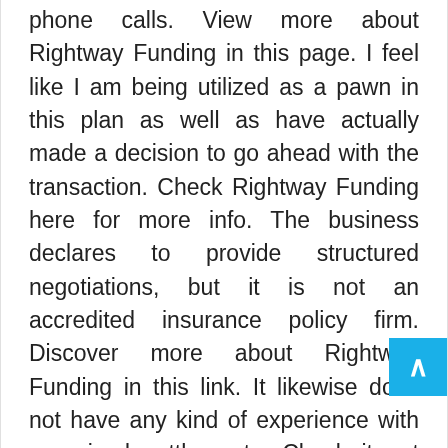phone calls. View more about Rightway Funding in this page. I feel like I am being utilized as a pawn in this plan as well as have actually made a decision to go ahead with the transaction. Check Rightway Funding here for more info. The business declares to provide structured negotiations, but it is not an accredited insurance policy firm. Discover more about Rightway Funding in this link. It likewise does not have any kind of experience with organized settlements. Check it out Rightway Funding in this site. In addition, it makes cases that it can provide monetary advice, however it is completely not true. Read Rightway Funding here for more info. Annuities are issued by insurance provider with their appointed brokers and also representatives, and also they are not sold intermediaries. Click Rightway Funding here for more details As a result, you will certainly never